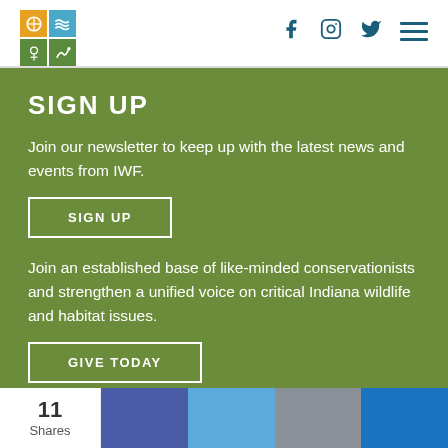IWF logo and social media icons (Facebook, Instagram, Twitter, Menu)
SIGN UP
Join our newsletter to keep up with the latest news and events from IWF.
SIGN UP
Join an established base of like-minded conservationists and strengthen a unified voice on critical Indiana wildlife and habitat issues.
GIVE TODAY
11 Shares